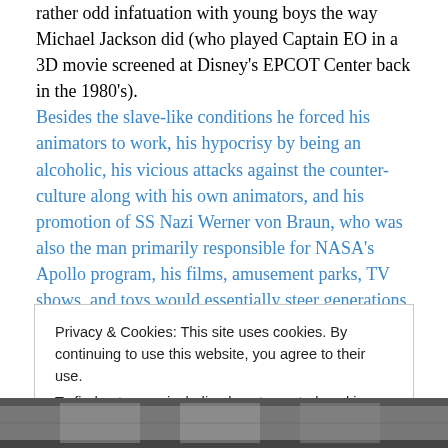rather odd infatuation with young boys the way Michael Jackson did (who played Captain EO in a 3D movie screened at Disney's EPCOT Center back in the 1980's). Besides the slave-like conditions he forced his animators to work, his hypocrisy by being an alcoholic, his vicious attacks against the counter-culture along with his own animators, and his promotion of SS Nazi Werner von Braun, who was also the man primarily responsible for NASA's Apollo program, his films, amusement parks, TV shows, and toys would essentially steer generations of children into his way of thinking and behaving.
Privacy & Cookies: This site uses cookies. By continuing to use this website, you agree to their use. To find out more, including how to control cookies, see here: Cookie Policy
[Figure (photo): Black and white photograph strip showing people in suits]